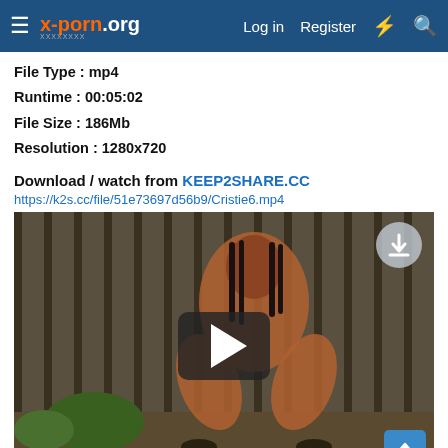x-porn.org — Log in   Register
File Type : mp4
Runtime : 00:05:02
File Size : 186Mb
Resolution : 1280x720
Download / watch from KEEP2SHARE.CC
https://k2s.cc/file/51e73697d56b9/Cristie6.mp4
[Figure (screenshot): Video thumbnail showing a woman crouching outdoors near a wooden fence, with a play button overlay and a download icon in the top-right corner.]